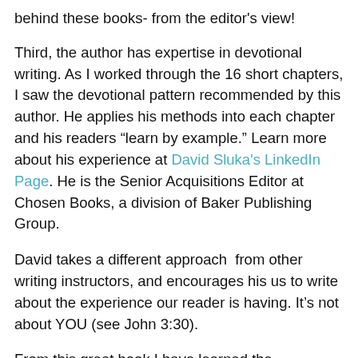behind these books- from the editor's view!
Third, the author has expertise in devotional writing. As I worked through the 16 short chapters, I saw the devotional pattern recommended by this author. He applies his methods into each chapter and his readers “learn by example.” Learn more about his experience at David Sluka's LinkedIn Page. He is the Senior Acquisitions Editor at Chosen Books, a division of Baker Publishing Group.
David takes a different approach  from other writing instructors, and encourages his us to write about the experience our reader is having. It’s not about YOU (see John 3:30).
From this great book I have learned the